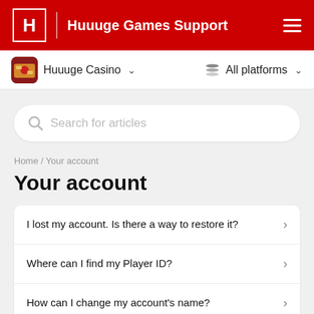Huuuge Games Support
Huuuge Casino  All platforms
Search for articles
Home / Your account
Your account
I lost my account. Is there a way to restore it?
Where can I find my Player ID?
How can I change my account's name?